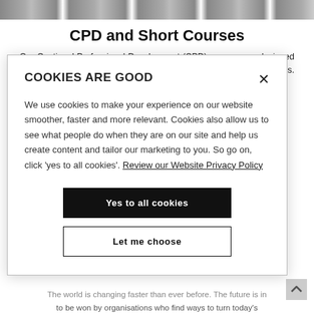[Figure (photo): Strip of thumbnail images at the top of the page, showing people in a course/professional setting]
CPD and Short Courses
Our Continual Professional Development (CPD) courses are designed to open up exciting new possibilities for individuals and organisations. By increasing skills and knowledge and introducing
COOKIES ARE GOOD

We use cookies to make your experience on our website smoother, faster and more relevant. Cookies also allow us to see what people do when they are on our site and help us create content and tailor our marketing to you. So go on, click 'yes to all cookies'. Review our Website Privacy Policy

Yes to all cookies

Let me choose
The world is changing faster than ever before. The future is in to be won by organisations who find ways to turn today's